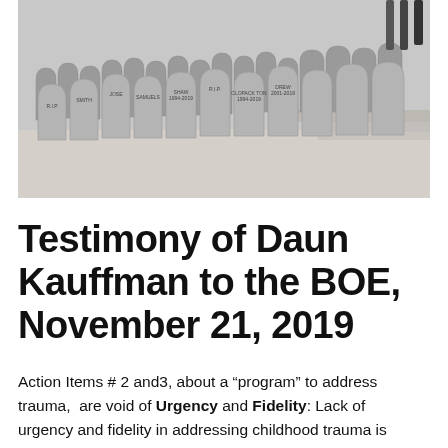[Figure (photo): A row of grey tombstone-shaped cardboard cutouts displayed on steps/pavement, each with names and dates written on them, representing deceased individuals.]
Testimony of Daun Kauffman to the BOE, November 21, 2019
Action Items # 2 and3, about a “program” to address trauma,  are void of Urgency and Fidelity: Lack of urgency and fidelity in addressing childhood trauma is immoral. We have the